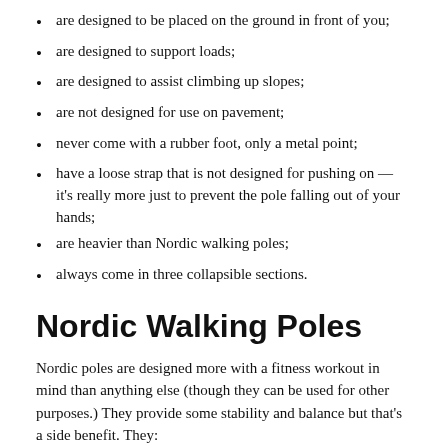are designed to be placed on the ground in front of you;
are designed to support loads;
are designed to assist climbing up slopes;
are not designed for use on pavement;
never come with a rubber foot, only a metal point;
have a loose strap that is not designed for pushing on — it's really more just to prevent the pole falling out of your hands;
are heavier than Nordic walking poles;
always come in three collapsible sections.
Nordic Walking Poles
Nordic poles are designed more with a fitness workout in mind than anything else (though they can be used for other purposes.) They provide some stability and balance but that's a side benefit. They: